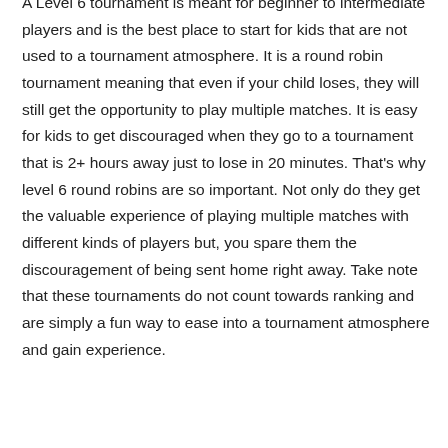A Level 6 tournament is meant for beginner to intermediate players and is the best place to start for kids that are not used to a tournament atmosphere. It is a round robin tournament meaning that even if your child loses, they will still get the opportunity to play multiple matches. It is easy for kids to get discouraged when they go to a tournament that is 2+ hours away just to lose in 20 minutes. That's why level 6 round robins are so important. Not only do they get the valuable experience of playing multiple matches with different kinds of players but, you spare them the discouragement of being sent home right away. Take note that these tournaments do not count towards ranking and are simply a fun way to ease into a tournament atmosphere and gain experience.